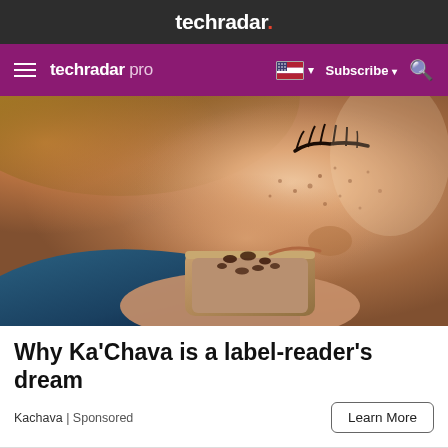techradar.
techradar pro  Subscribe
[Figure (photo): Close-up photo of a freckled woman with closed eyes drinking from a glass cup containing a chocolate/protein drink with cacao nibs on top]
Why Ka'Chava is a label-reader's dream
Kachava | Sponsored
Learn More